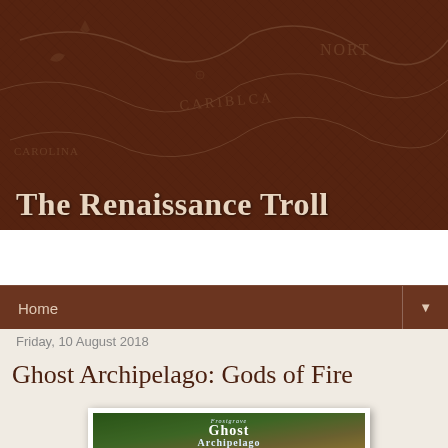The Renaissance Troll
Home
Friday, 10 August 2018
Ghost Archipelago: Gods of Fire
[Figure (photo): Photo of a book cover for 'Frostgrave: Ghost Archipelago – Gods of Fire', showing fantasy artwork with a jungle/adventure scene.]